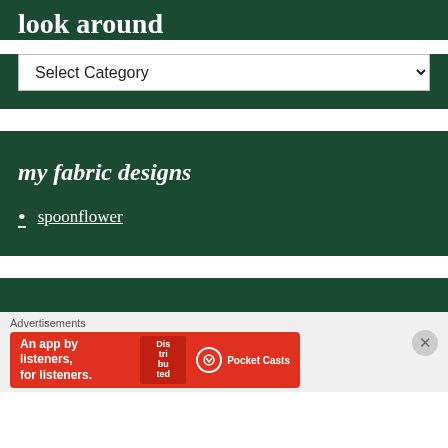look around
Select Category
my fabric designs
spoonflower
Advertisements
[Figure (screenshot): Red advertisement banner for Pocket Casts: 'An app by listeners, for listeners.']